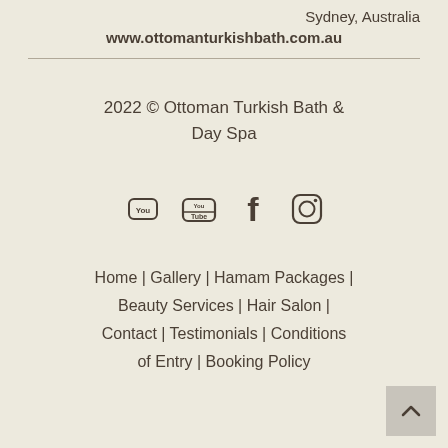Sydney, Australia
www.ottomanturkishbath.com.au
2022 © Ottoman Turkish Bath & Day Spa
[Figure (infographic): Social media icons: YouTube, Facebook, Instagram]
Home | Gallery | Hamam Packages | Beauty Services | Hair Salon | Contact | Testimonials | Conditions of Entry | Booking Policy